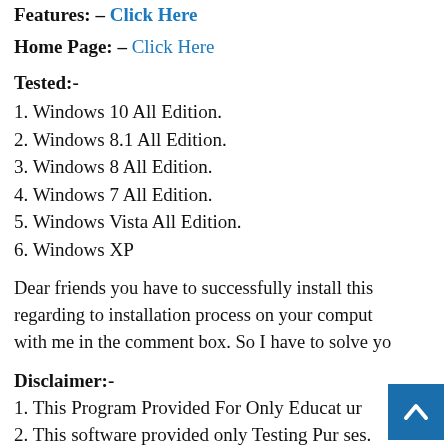Features: – Click Here
Home Page: – Click Here
Tested:-
1. Windows 10 All Edition.
2. Windows 8.1 All Edition.
3. Windows 8 All Edition.
4. Windows 7 All Edition.
5. Windows Vista All Edition.
6. Windows XP
Dear friends you have to successfully install this regarding to installation process on your comput with me in the comment box. So I have to solve yo
Disclaimer:-
1. This Program Provided For Only Educat ur
2. This software provided only Testing Pur ses.